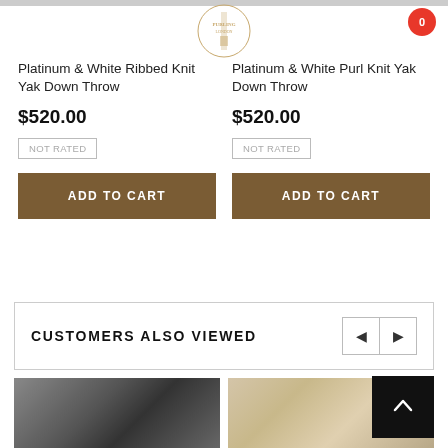[Figure (logo): Circular logo for a luxury textile brand with text inside]
0
Platinum & White Ribbed Knit Yak Down Throw
$520.00
NOT RATED
ADD TO CART
Platinum & White Purl Knit Yak Down Throw
$520.00
NOT RATED
ADD TO CART
CUSTOMERS ALSO VIEWED
[Figure (photo): Dark gray woven textile throw draped over a concrete stand]
[Figure (photo): Cream and tan striped textile throw draped over a concrete stand]